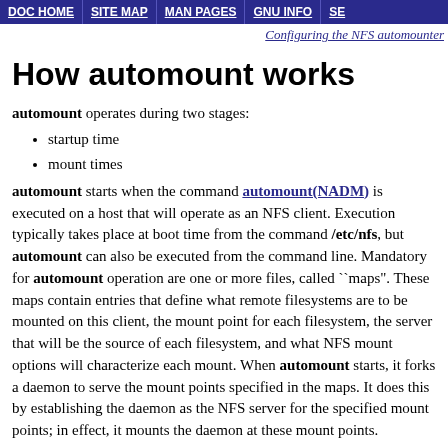DOC HOME | SITE MAP | MAN PAGES | GNU INFO | SE
Configuring the NFS automounter
How automount works
automount operates during two stages:
startup time
mount times
automount starts when the command automount(NADM) is executed on a host that will operate as an NFS client. Execution typically takes place at boot time from the command /etc/nfs, but automount can also be executed from the command line. Mandatory for automount operation are one or more files, called ``maps". These maps contain entries that define what remote filesystems are to be mounted on this client, the mount point for each filesystem, the server that will be the source of each filesystem, and what NFS mount options will characterize each mount. When automount starts, it forks a daemon to serve the mount points specified in the maps. It does this by establishing the daemon as the NFS server for the specified mount points; in effect, it mounts the daemon at these mount points.